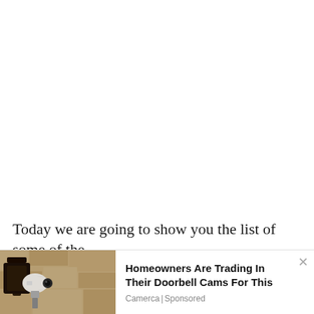Today we are going to show you the list of some of the
[Figure (photo): Advertisement showing a security camera mounted on a stone wall exterior, displayed as a native ad overlay at the bottom of the page]
Homeowners Are Trading In Their Doorbell Cams For This
Camerca | Sponsored